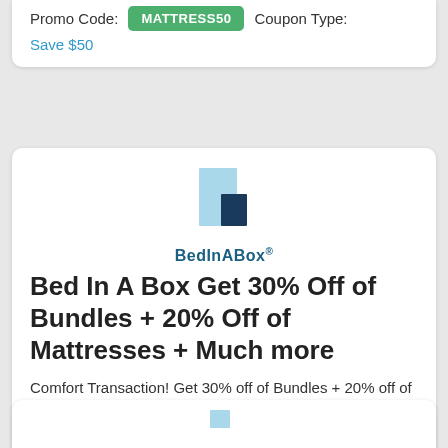Promo Code: MATTRESS50 Coupon Type:
Save $50
[Figure (logo): BedInABox logo: two blue rectangles stacked, light blue taller rectangle on left overlapping a dark navy shorter rectangle on right, with text 'BedInABox®' below in dark teal]
Bed In A Box Get 30% Off of Bundles + 20% Off of Mattresses + Much more
Comfort Transaction! Get 30% off of Bundles + 20% off of mattresses + Free of charge Plush Special pillows with select get
Sale:  Get Deal  Coupon Type: 30% Off
[Figure (logo): Partial logo visible at bottom of page, light blue rectangle shape]